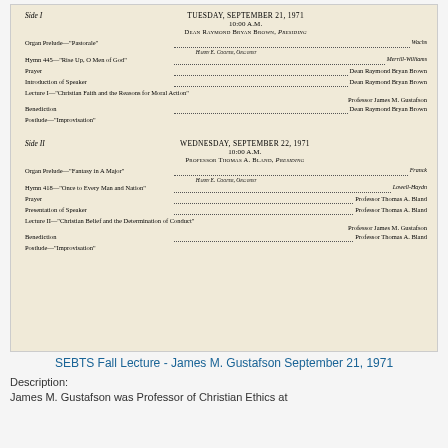[Figure (other): Scanned program document for SEBTS Fall Lecture. Side I: Tuesday, September 21, 1971, 10:00 A.M., Dean Raymond Bryan Brown Presiding. Entries include Organ Prelude, Hymn 445, Prayer, Introduction of Speaker, Lecture I, Benediction, Postlude. Side II: Wednesday, September 22, 1971, 10:00 A.M., Professor Thomas A. Bland Presiding. Entries include Organ Prelude, Hymn 418, Prayer, Presentation of Speaker, Lecture II, Benediction, Postlude.]
SEBTS Fall Lecture - James M. Gustafson September 21, 1971
Description:
James M. Gustafson was Professor of Christian Ethics at